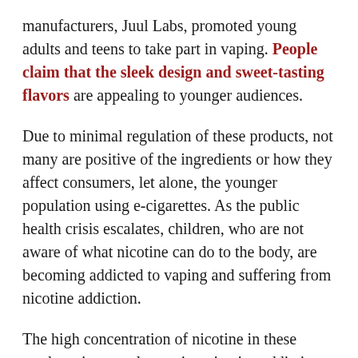manufacturers, Juul Labs, promoted young adults and teens to take part in vaping. People claim that the sleek design and sweet-tasting flavors are appealing to younger audiences.
Due to minimal regulation of these products, not many are positive of the ingredients or how they affect consumers, let alone, the younger population using e-cigarettes. As the public health crisis escalates, children, who are not aware of what nicotine can do to the body, are becoming addicted to vaping and suffering from nicotine addiction.
The high concentration of nicotine in these products is not only causing nicotine addiction, but also nicotine toxicity. This occurs when the body has absorbed too much of the addictive chemical and begins to become poisonous. First signs of nicotine toxicity occurs as early as 15 minutes after its onset and can be easily missed because the symptoms, like headache, queasiness, or